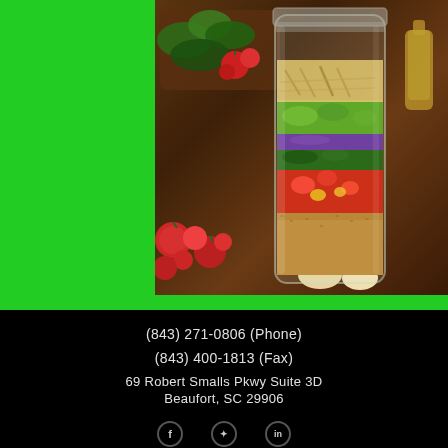[Figure (photo): Photo of a mason jar salad with layered ingredients (grains, tomatoes, greens, avocado, cheese) on a wooden table with cherry tomatoes and leafy greens in the background. Green border surrounds the photo area.]
(843) 271-0806 (Phone)
(843) 400-1813 (Fax)
69 Robert Smalls Pkwy Suite 3D
Beaufort, SC 29906
[Figure (illustration): Social media icons (Facebook, Twitter, LinkedIn) at the bottom of the page]